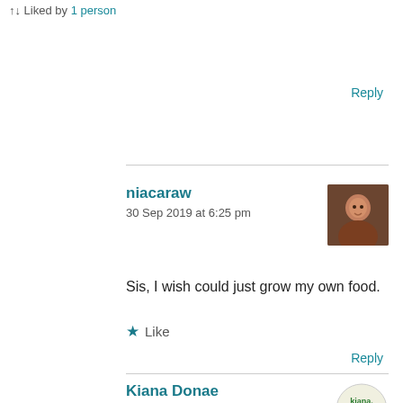Liked by 1 person
Reply
niacaraw
30 Sep 2019 at 6:25 pm
[Figure (photo): Profile avatar of niacaraw — woman with curly hair and glasses]
Sis, I wish could just grow my own food.
Like
Reply
Kiana Donae
30 Sep 2019 at 7:48 pm
[Figure (logo): Kiana Donae blog logo]
Lol. Right. I have started using shop&scan at my